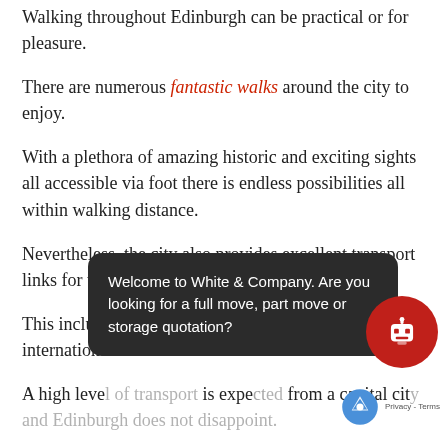Walking throughout Edinburgh can be practical or for pleasure.
There are numerous fantastic walks around the city to enjoy.
With a plethora of amazing historic and exciting sights all accessible via foot there is endless possibilities all within walking distance.
Nevertheless, the city also provides excellent transport links for those who prefer not to walk.
This includes both inner city, local, national, and international links!
A high level of transport is expected from a capital city and Edinburgh does not disappoint.
Edinburgh provides locals with an excellent bus service, offering transport links to every part of the city as well as